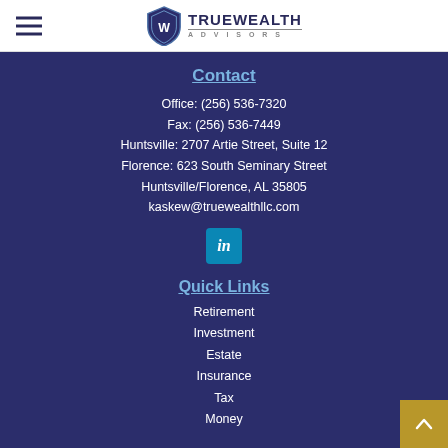[Figure (logo): TrueWealth Advisors logo with shield icon and company name]
Contact
Office: (256) 536-7320
Fax: (256) 536-7449
Huntsville: 2707 Artie Street, Suite 12
Florence: 623 South Seminary Street
Huntsville/Florence, AL 35805
kaskew@truewealthllc.com
[Figure (logo): LinkedIn icon button]
Quick Links
Retirement
Investment
Estate
Insurance
Tax
Money